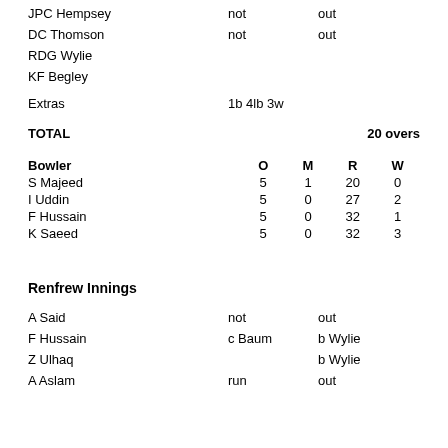JPC Hempsey  not  out
DC Thomson  not  out
RDG Wylie
KF Begley
Extras  1b 4lb 3w
TOTAL  20 overs
| Bowler | O | M | R | W |
| --- | --- | --- | --- | --- |
| S Majeed | 5 | 1 | 20 | 0 |
| I Uddin | 5 | 0 | 27 | 2 |
| F Hussain | 5 | 0 | 32 | 1 |
| K Saeed | 5 | 0 | 32 | 3 |
Renfrew Innings
A Said  not  out
F Hussain  c Baum  b Wylie
Z Ulhaq  b Wylie
A Aslam  run  out